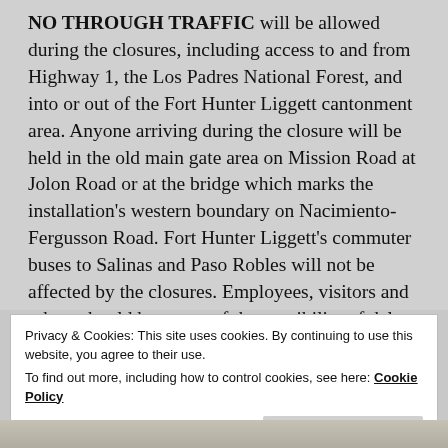NO THROUGH TRAFFIC will be allowed during the closures, including access to and from Highway 1, the Los Padres National Forest, and into or out of the Fort Hunter Liggett cantonment area. Anyone arriving during the closure will be held in the old main gate area on Mission Road at Jolon Road or at the bridge which marks the installation's western boundary on Nacimiento-Fergusson Road. Fort Hunter Liggett's commuter buses to Salinas and Paso Robles will not be affected by the closures. Employees, visitors and others should be aware of the possibility of delay during these times.
Privacy & Cookies: This site uses cookies. By continuing to use this website, you agree to their use. To find out more, including how to control cookies, see here: Cookie Policy
[Figure (map): Partial map strip visible at bottom of page]